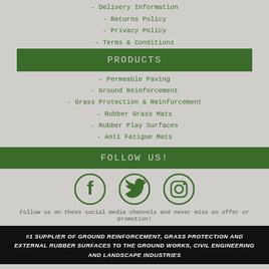- Delivery Information
- Returns Policy
- Privacy Policy
- Terms & Conditions
PRODUCTS
- Permeable Paving
- Ground Reinforcement
- Grass Protection & Reinforcement
- Rubber Grass Mats
- Rubber Play Surfaces
- Anti Fatigue Mats
FOLLOW US!
[Figure (illustration): Three social media icons: Facebook, Twitter, Instagram in dark green on grey background]
Follow us on these social media channels and never miss an offer or promotion!
#1 SUPPLIER OF GROUND REINFORCEMENT, GRASS PROTECTION AND EXTERNAL RUBBER SURFACES TO THE GROUND WORKS, CIVIL ENGINEERING AND LANDSCAPE INDUSTRIES